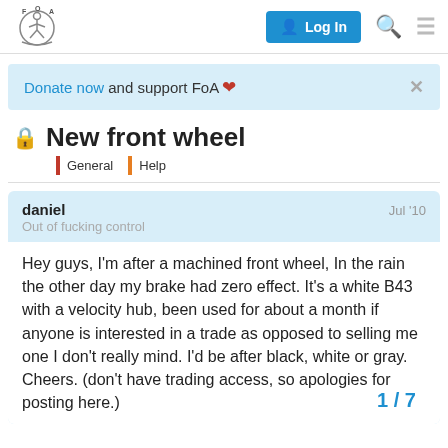FoA forum navigation bar with Log In button, search icon, and menu icon
Donate now and support FoA ❤
New front wheel
General | Help
daniel — Jul '10
Out of fucking control

Hey guys, I'm after a machined front wheel, In the rain the other day my brake had zero effect. It's a white B43 with a velocity hub, been used for about a month if anyone is interested in a trade as opposed to selling me one I don't really mind. I'd be after black, white or gray. Cheers. (don't have trading access, so apologies for posting here.)
1 / 7